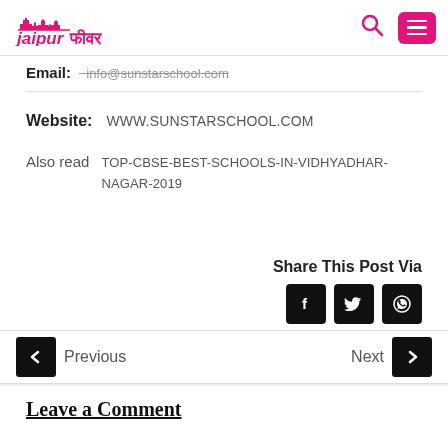Jaipur Fever
Email: info@sunstarschool.com
Website: WWW.SUNSTARSCHOOL.COM
Also read TOP-CBSE-BEST-SCHOOLS-IN-VIDHYADHAR-NAGAR-2019
Share This Post Via
[Figure (infographic): Social share buttons: Facebook, Twitter, WhatsApp]
Previous | Next navigation
Leave a Comment